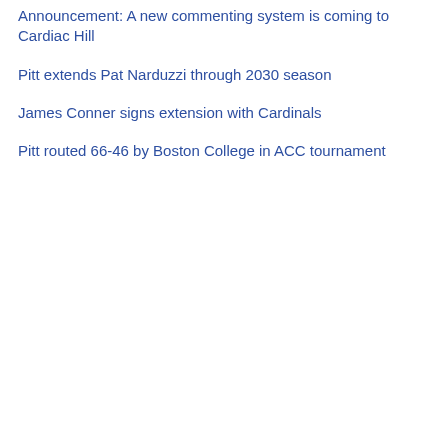Announcement: A new commenting system is coming to Cardiac Hill
Pitt extends Pat Narduzzi through 2030 season
James Conner signs extension with Cardinals
Pitt routed 66-46 by Boston College in ACC tournament